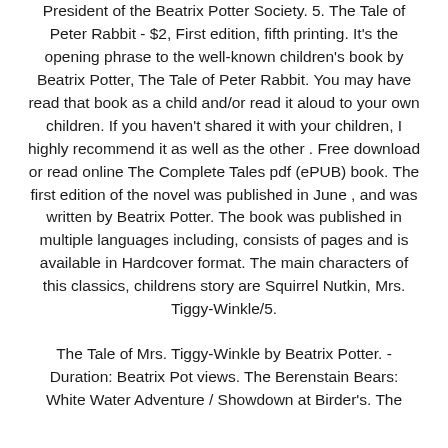President of the Beatrix Potter Society. 5. The Tale of Peter Rabbit - $2, First edition, fifth printing. It's the opening phrase to the well-known children's book by Beatrix Potter, The Tale of Peter Rabbit. You may have read that book as a child and/or read it aloud to your own children. If you haven't shared it with your children, I highly recommend it as well as the other . Free download or read online The Complete Tales pdf (ePUB) book. The first edition of the novel was published in June , and was written by Beatrix Potter. The book was published in multiple languages including, consists of pages and is available in Hardcover format. The main characters of this classics, childrens story are Squirrel Nutkin, Mrs. Tiggy-Winkle/5.
The Tale of Mrs. Tiggy-Winkle by Beatrix Potter. - Duration: Beatrix Pot views. The Berenstain Bears: White Water Adventure / Showdown at Birder's. The